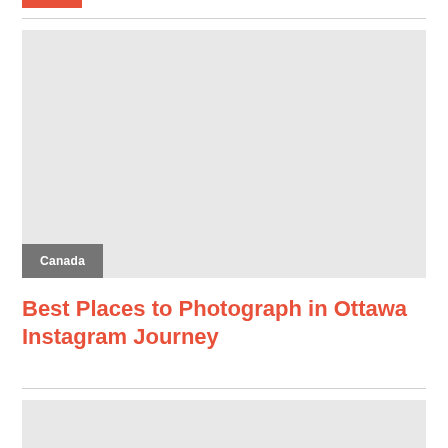[Figure (photo): Large placeholder image for article, light gray background]
Best Places to Photograph in Ottawa Instagram Journey
[Figure (photo): Second article placeholder image, light gray background, partially visible]